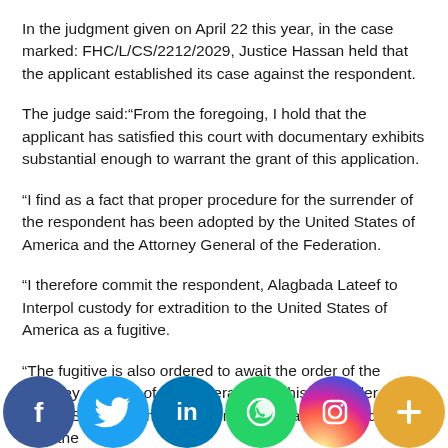In the judgment given on April 22 this year, in the case marked: FHC/L/CS/2212/2029, Justice Hassan held that the applicant established its case against the respondent.
The judge said:“From the foregoing, I hold that the applicant has satisfied this court with documentary exhibits substantial enough to warrant the grant of this application.
“I find as a fact that proper procedure for the surrender of the respondent has been adopted by the United States of America and the Attorney General of the Federation.
“I therefore commit the respondent, Alagbada Lateef to Interpol custody for extradition to the United States of America as a fugitive.
“The fugitive is also ordered to await the order of the Attorney General of the Federation for his surrender to the United States of America after the expiration of 15 days from the
[Figure (infographic): Social media sharing buttons bar at bottom: Facebook (blue), Twitter (light blue), LinkedIn (dark blue), WhatsApp (green), Instagram (gradient), More/Plus (orange)]